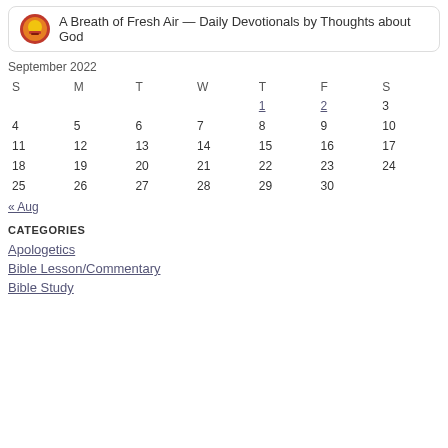A Breath of Fresh Air — Daily Devotionals by Thoughts about God
| S | M | T | W | T | F | S |
| --- | --- | --- | --- | --- | --- | --- |
|  |  |  |  | 1 | 2 | 3 |
| 4 | 5 | 6 | 7 | 8 | 9 | 10 |
| 11 | 12 | 13 | 14 | 15 | 16 | 17 |
| 18 | 19 | 20 | 21 | 22 | 23 | 24 |
| 25 | 26 | 27 | 28 | 29 | 30 |  |
« Aug
CATEGORIES
Apologetics
Bible Lesson/Commentary
Bible Study